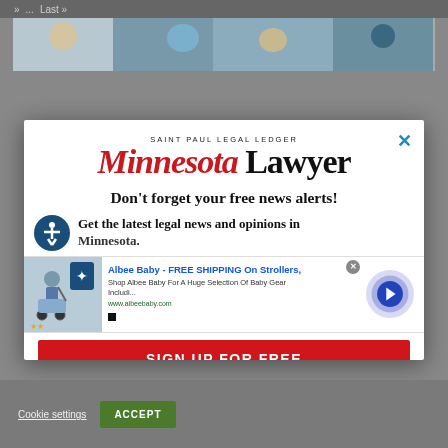» ... Last »
[Figure (photo): Partial photo strip of people, cropped at top of page]
[Figure (logo): Minnesota Lawyer / Saint Paul Legal Ledger logo]
Don't forget your free news alerts!
Get the latest legal news and opinions in Minnesota.
[Figure (infographic): Advertisement: Albee Baby - FREE SHIPPING On Strollers, Shop Albee Baby For A Huge Selection Of Baby Gear Includi... www.albeebaby.com]
SIGN UP FOR FREE
Cookie settings
ACCEPT